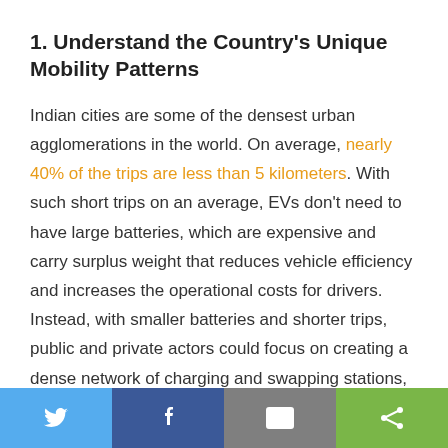1. Understand the Country's Unique Mobility Patterns
Indian cities are some of the densest urban agglomerations in the world. On average, nearly 40% of the trips are less than 5 kilometers. With such short trips on an average, EVs don't need to have large batteries, which are expensive and carry surplus weight that reduces vehicle efficiency and increases the operational costs for drivers. Instead, with smaller batteries and shorter trips, public and private actors could focus on creating a dense network of charging and swapping stations, building a reliable EV ecosystem. A bottom-up understanding of mobility patterns can help in choosing vehicle and battery technologies that meet people's
[Figure (infographic): Social sharing bar with Twitter, Facebook, Email, and Share buttons]